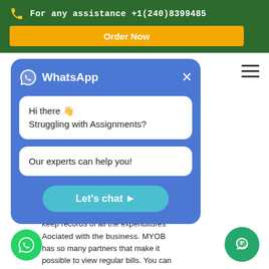For any assistance +1(240)8399485
Order Now
[Figure (screenshot): WhatsApp chat popup with blue background showing messages: 'Hi there 👋 Struggling with Assignments?' and 'Our experts can help you!' with a 'Let's chat ➤' button]
keep records of all the expenditures associated with the business. MYOB has so many partners that make it possible to view regular bills. You can